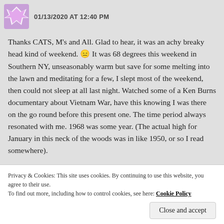01/13/2020 AT 12:40 PM
Thanks CATS, M's and All. Glad to hear, it was an achy breaky head kind of weekend. 😑 It was 68 degrees this weekend in Southern NY, unseasonably warm but save for some melting into the lawn and meditating for a few, I slept most of the weekend, then could not sleep at all last night. Watched some of a Ken Burns documentary about Vietnam War, have this knowing I was there on the go round before this present one. The time period always resonated with me. 1968 was some year. (The actual high for January in this neck of the woods was in like 1950, or so I read somewhere).
Privacy & Cookies: This site uses cookies. By continuing to use this website, you agree to their use.
To find out more, including how to control cookies, see here: Cookie Policy
Close and accept